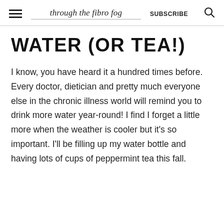through the fibro fog  SUBSCRIBE
WATER (OR TEA!)
I know, you have heard it a hundred times before. Every doctor, dietician and pretty much everyone else in the chronic illness world will remind you to drink more water year-round! I find I forget a little more when the weather is cooler but it's so important. I'll be filling up my water bottle and having lots of cups of peppermint tea this fall.